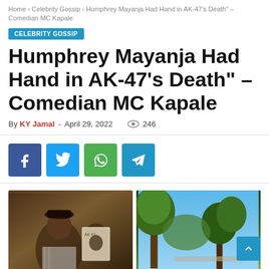Home › Celebrity Gossip › Humphrey Mayanja Had Hand in AK-47's Death" – Comedian MC Kapale
CELEBRITY GOSSIP
Humphrey Mayanja Had Hand in AK-47's Death" – Comedian MC Kapale
By KY Jamal - April 29, 2022   246
[Figure (other): Social share buttons: Facebook (blue), Twitter (light blue), WhatsApp (green), Telegram (blue)]
[Figure (photo): Two photos side by side: left shows a man smiling in a striped shirt with a cap and a memorial photo in the background; right shows trees with blue sky.]